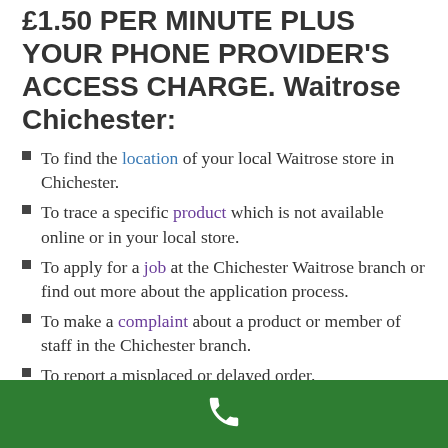£1.50 PER MINUTE PLUS YOUR PHONE PROVIDER'S ACCESS CHARGE. Waitrose Chichester:
To find the location of your local Waitrose store in Chichester.
To trace a specific product which is not available online or in your local store.
To apply for a job at the Chichester Waitrose branch or find out more about the application process.
To make a complaint about a product or member of staff in the Chichester branch.
To report a misplaced or delayed order.
Whatever your reason you can contact
[Figure (other): Green bar with white phone icon at the bottom of the page]